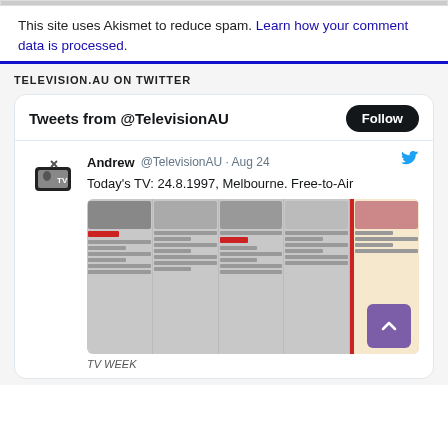This site uses Akismet to reduce spam. Learn how your comment data is processed.
TELEVISION.AU ON TWITTER
[Figure (screenshot): Twitter widget showing 'Tweets from @TelevisionAU' with a Follow button, and a tweet by Andrew @TelevisionAU dated Aug 24 reading 'Today's TV: 24.8.1997, Melbourne. Free-to-Air' with an attached TV Week magazine image and 'TV WEEK' label below.]